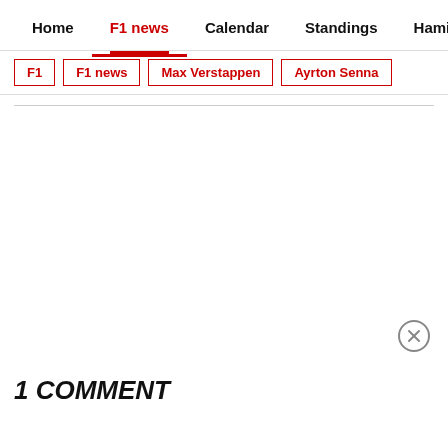Home  F1 news  Calendar  Standings  Hamilton
F1  F1 news  Max Verstappen  Ayrton Senna
1 COMMENT